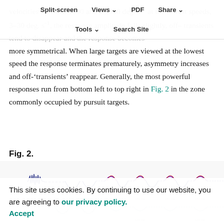Split-screen | Views | PDF | Share | Tools | Search Site
velocities between 1000 and 10,000 deg. s⁻¹ at the lowest speeds, 3–30 deg. s⁻¹, the response amplitude falls slightly, off-transients tend to disappear and the response becomes more symmetrical. When large targets are viewed at the lowest speed the response terminates prematurely, asymmetry increases and off-‘transients’ reappear. Generally, the most powerful responses run from bottom left to top right in Fig. 2 in the zone commonly occupied by pursuit targets.
Fig. 2.
[Figure (continuous-plot): Electrophysiology response traces showing neural responses at various stimulus conditions. Multiple waveform traces in blue, red, and purple colors arranged in a grid pattern showing response amplitudes over time.]
This site uses cookies. By continuing to use our website, you are agreeing to our privacy policy.
Accept